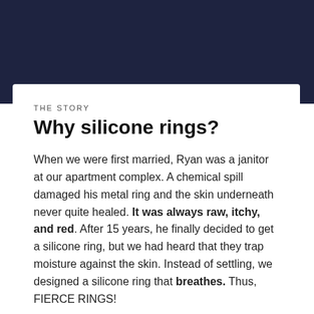THE STORY
Why silicone rings?
When we were first married, Ryan was a janitor at our apartment complex. A chemical spill damaged his metal ring and the skin underneath never quite healed. It was always raw, itchy, and red. After 15 years, he finally decided to get a silicone ring, but we had heard that they trap moisture against the skin. Instead of settling, we designed a silicone ring that breathes. Thus, FIERCE RINGS!